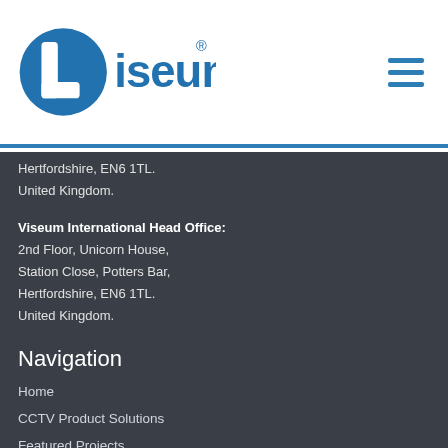Viseum logo and navigation hamburger menu
Hertfordshire, EN6 1TL.
United Kingdom.
Viseum International Head Office:
2nd Floor, Unicorn House,
Station Close, Potters Bar,
Hertfordshire, EN6 1TL.
United Kingdom.
Navigation
Home
CCTV Product Solutions
Featured Projects
CCTV Case Studies
CCTV Demonstrations